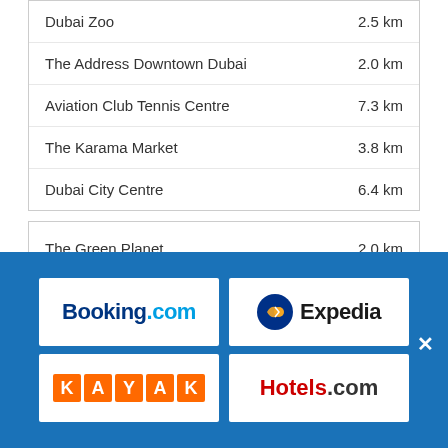| Location | Distance |
| --- | --- |
| Dubai Zoo | 2.5 km |
| The Address Downtown Dubai | 2.0 km |
| Aviation Club Tennis Centre | 7.3 km |
| The Karama Market | 3.8 km |
| Dubai City Centre | 6.4 km |
| Location | Distance |
| --- | --- |
| The Green Planet | 2.0 km |
| Majlis Gallery | 6.1 km |
| Dubai Aquarium and Underwater Zoo | 1.6 km |
| Dubailand | 14.5 km |
[Figure (logo): Booking.com logo]
[Figure (logo): Expedia logo]
[Figure (logo): KAYAK logo]
[Figure (logo): Hotels.com logo]